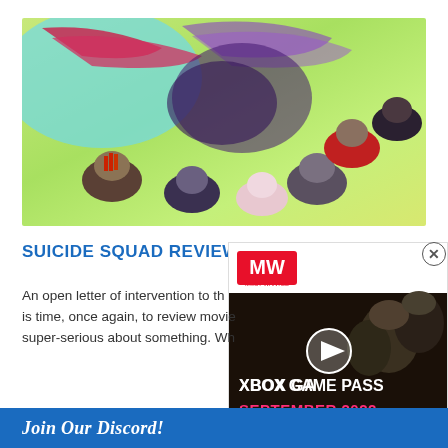[Figure (photo): Suicide Squad movie promotional image showing characters viewed from above against a colorful paint-splattered background (green, pink, red brushstrokes). Several characters in costume are posed looking downward at the camera.]
SUICIDE SQUAD REVIEW
An open letter of intervention to th... is time, once again, to review movie... super-serious about something. Wh...
[Figure (screenshot): Advertisement overlay for Xbox Game Pass September 2022, featuring the MW (Most Wanted) logo in pink/red on white background, with soldiers in military gear on the right, a play button in the center, and text 'XBOX GAME PASS' in white large letters and 'SEPTEMBER 2022' in pink letters below.]
Join Our Discord!